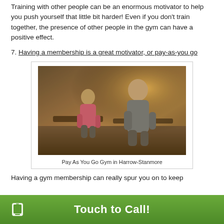Training with other people can be an enormous motivator to help you push yourself that little bit harder! Even if you don't train together, the presence of other people in the gym can have a positive effect.
7. Having a membership is a great motivator, or pay-as-you go
[Figure (photo): People running on treadmills in a gym, warm golden light, two people visible running on treadmills]
Pay As You Go Gym in Harrow-Stanmore
Having a gym membership can really spur you on to keep
Touch to Call!